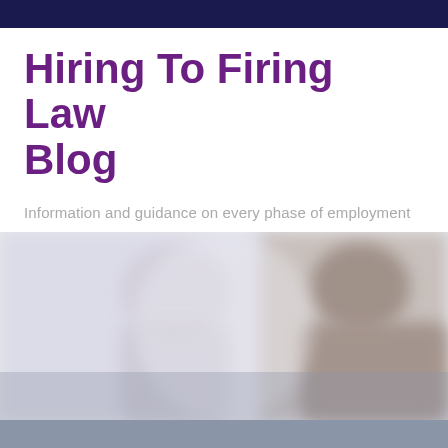Hiring To Firing Law Blog
Information and guidance on every phase of employment
[Figure (photo): Blurred photo of two people in a bright office environment, motion blurred, one person in foreground wearing gray, one in background]
troutman pepper | MENU